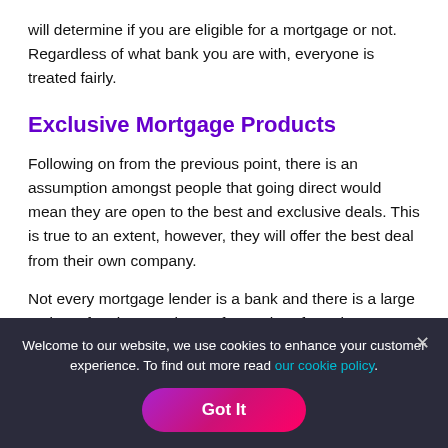will determine if you are eligible for a mortgage or not. Regardless of what bank you are with, everyone is treated fairly.
Exclusive Mortgage Products
Following on from the previous point, there is an assumption amongst people that going direct would mean they are open to the best and exclusive deals. This is true to an extent, however, they will offer the best deal from their own company.
Not every mortgage lender is a bank and there is a large variety of options to choose from. Therefore, the most suitable deal your bank can offer, might not be the best one for you outside
Welcome to our website, we use cookies to enhance your customer experience. To find out more read our cookie policy.